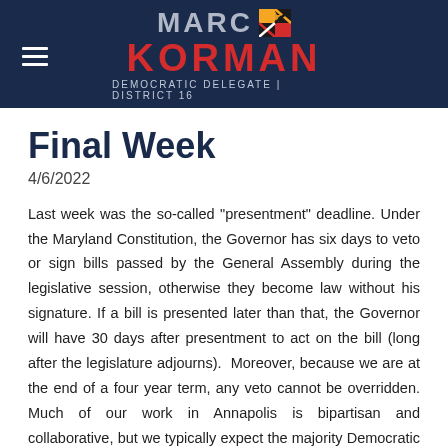[Figure (logo): Marc Korman Democratic Delegate District 16 logo with Maryland state flag, on dark navy background with hamburger menu icon]
Final Week
4/6/2022
Last week was the so-called "presentment" deadline. Under the Maryland Constitution, the Governor has six days to veto or sign bills passed by the General Assembly during the legislative session, otherwise they become law without his signature. If a bill is presented later than that, the Governor will have 30 days after presentment to act on the bill (long after the legislature adjourns).  Moreover, because we are at the end of a four year term, any veto cannot be overridden. Much of our work in Annapolis is bipartisan and collaborative, but we typically expect the majority Democratic legislature to have some